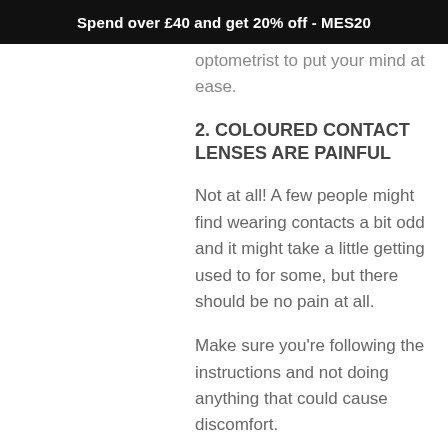Spend over £40 and get 20% off - MES20
optometrist to put your mind at ease.
2. COLOURED CONTACT LENSES ARE PAINFUL
Not at all! A few people might find wearing contacts a bit odd and it might take a little getting used to for some, but there should be no pain at all.
Make sure you're following the instructions and not doing anything that could cause discomfort.
If, for any reason, there is